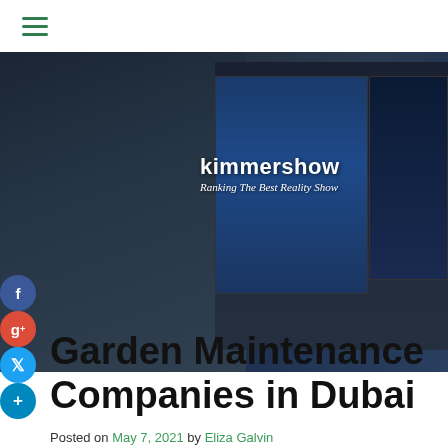≡ (hamburger menu)
[Figure (photo): Man wearing headphones working at a desk with multiple monitors showing video editing software. Overlay text: 'kimmershow' and 'Ranking The Best Reality Show']
Garden Maintenance Companies in Dubai
Posted on May 7, 2021 by Eliza Galvin